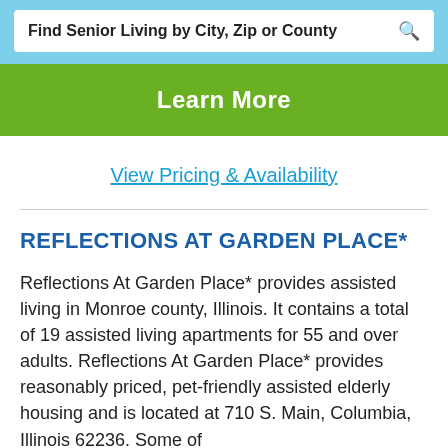Find Senior Living by City, Zip or County
[Figure (other): Green 'Learn More' button]
View Pricing & Availability
REFLECTIONS AT GARDEN PLACE*
Reflections At Garden Place* provides assisted living in Monroe county, Illinois. It contains a total of 19 assisted living apartments for 55 and over adults. Reflections At Garden Place* provides reasonably priced, pet-friendly assisted elderly housing and is located at 710 S. Main, Columbia, Illinois 62236. Some of